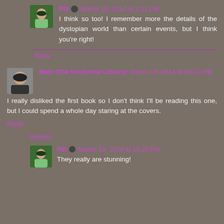Pili · March 19, 2014 at 7:31 PM
I think so too! I remember more the details of the dystopian world than certain events, but I think you're right!
Reply
Maja (The Nocturnal Library) March 19, 2014 at 10:22 PM
I really disliked the first book so I don't think I'll be reading this one, but I could spend a whole day staring at the covers.
Reply
Replies
Pili · March 19, 2014 at 10:25 PM
They really are stunning!